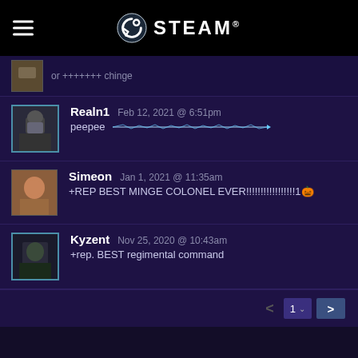STEAM
or ++++++++ chinge
Realn1  Feb 12, 2021 @ 6:51pm
peepee [blue laser image]
Simeon  Jan 1, 2021 @ 11:35am
+REP BEST MINGE COLONEL EVER!!!!!!!!!!!!!!!!!1 🎃
Kyzent  Nov 25, 2020 @ 10:43am
+rep. BEST regimental command